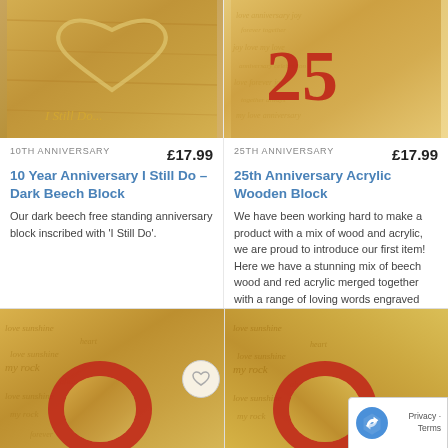[Figure (photo): 10 Year Anniversary I Still Do dark beech wooden block with heart shape and 'I Still Do...' text]
[Figure (photo): 25th Anniversary acrylic wooden block with red '25' lettering and engraved loving words]
10TH ANNIVERSARY
£17.99
10 Year Anniversary I Still Do – Dark Beech Block
Our dark beech free standing anniversary block inscribed with 'I Still Do'.
25TH ANNIVERSARY
£17.99
25th Anniversary Acrylic Wooden Block
We have been working hard to make a product with a mix of wood and acrylic, we are proud to introduce our first item! Here we have a stunning mix of beech wood and red acrylic merged together with a range of loving words engraved over the item, this word art anniversary decoration is a [...]
[Figure (photo): Bottom left product: wooden block with red acrylic circle and engraved text 'love sunshine my rock']
[Figure (photo): Bottom right product: wooden block with red acrylic circle and engraved text 'love sunshine my rock']